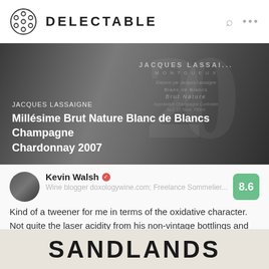DELECTABLE
[Figure (photo): Close-up photo of a Jacques Lassaigne Millésime Brut Nature Blanc de Blancs Champagne Chardonnay 2007 wine bottle label]
JACQUES LASSAIGNE
Millésime Brut Nature Blanc de Blancs Champagne Chardonnay 2007
Kevin Walsh — Wine blogger doxologywine.com; Freelance Sommelier... — 8.6
Kind of a tweener for me in terms of the oxidative character. Not quite the laser acidity from his non-vintage bottlings and some straw notes, but not quite enough character to really make this one I want to come back to — 4 years ago
James liked this
[Figure (photo): Bottom portion of a Sandlands wine bottle label showing the word SANDLANDS in large bold letters]